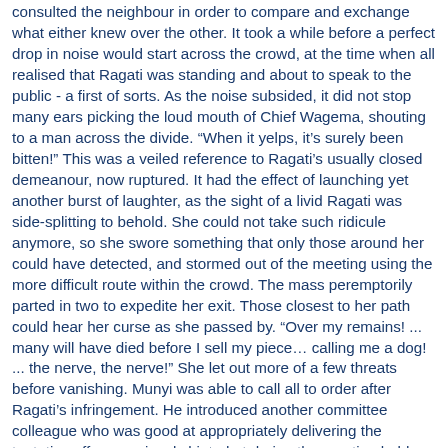consulted the neighbour in order to compare and exchange what either knew over the other. It took a while before a perfect drop in noise would start across the crowd, at the time when all realised that Ragati was standing and about to speak to the public - a first of sorts. As the noise subsided, it did not stop many ears picking the loud mouth of Chief Wagema, shouting to a man across the divide. “When it yelps, it’s surely been bitten!” This was a veiled reference to Ragati’s usually closed demeanour, now ruptured. It had the effect of launching yet another burst of laughter, as the sight of a livid Ragati was side-splitting to behold. She could not take such ridicule anymore, so she swore something that only those around her could have detected, and stormed out of the meeting using the more difficult route within the crowd. The mass peremptorily parted in two to expedite her exit. Those closest to her path could hear her curse as she passed by. “Over my remains! ... many will have died before I sell my piece… calling me a dog! ... the nerve, the nerve!” She let out more of a few threats before vanishing. Munyi was able to call all to order after Ragati’s infringement. He introduced another committee colleague who was good at appropriately delivering the tentative offers previously hinted at during the meeting held with the investors. In his rendition, this member revealed that the total number of land parcels across the valley amounted to seventy-three, give or take the common areas reserved for the communal purposes, the example of which was the ground upon which they stood. What he did not reveal was that the moneymen had offered to buy certain of these communal areas at a fee the committee was to agree upon, most specifically, the pieces whose existence the public had not become aware of (but which existed nevertheless), especially because no utility had yet been earmarked for them. The public didn’t have to be in on this matter, the wily moneymen had suggested. He therefore dwelt on those public pieces, like the cattle